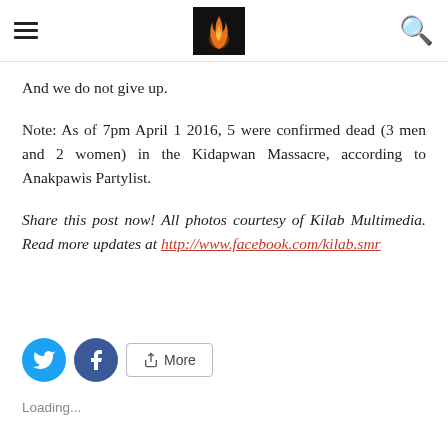[hamburger menu] [logo/flame image] [search icon]
And we do not give up.
Note: As of 7pm April 1 2016, 5 were confirmed dead (3 men and 2 women) in the Kidapwan Massacre, according to Anakpawis Partylist.
Share this post now! All photos courtesy of Kilab Multimedia. Read more updates at http://www.facebook.com/kilab.smr
[Figure (other): Social sharing buttons: Twitter (blue circle), Facebook (blue circle), and a More button with share icon]
Loading...